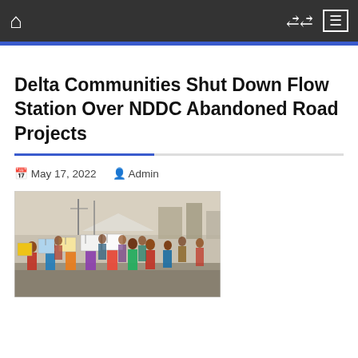Navigation bar with home, shuffle, and menu icons
Delta Communities Shut Down Flow Station Over NDDC Abandoned Road Projects
May 17, 2022   Admin
[Figure (photo): Group of women protesters holding signs/placards standing on a road, with buildings and infrastructure visible in the background]